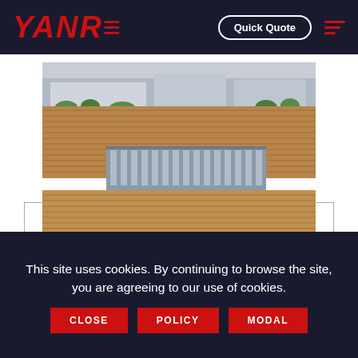[Figure (logo): YANRE logo in red italic bold text on dark navy background]
Quick Quote
[Figure (photo): Aerial view of YANRE factory complex with industrial warehouse buildings, rooftops, trees, a red flag, and YANRE signage on the front building]
This site uses cookies. By continuing to browse the site, you are agreeing to our use of cookies.
CLOSE
POLICY
MODAL